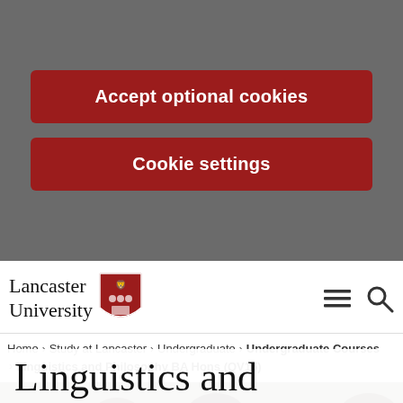Accept optional cookies
Cookie settings
[Figure (logo): Lancaster University shield/crest logo with text 'Lancaster University']
Home > Study at Lancaster > Undergraduate > Undergraduate Courses > Linguistics and Philosophy BA Hons (QV15)
[Figure (photo): Three female students smiling and looking at something together, in a study or classroom setting]
Linguistics and